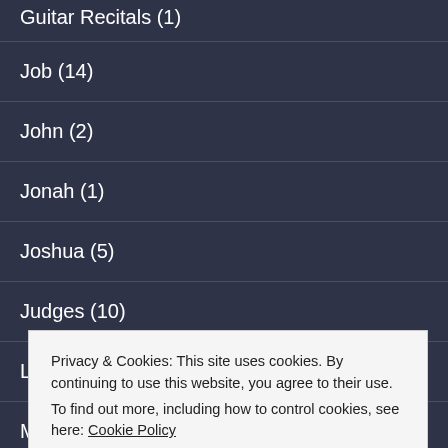Guitar Recitals (1)
Job (14)
John (2)
Jonah (1)
Joshua (5)
Judges (10)
Leviticus (3)
Mark (3)
Matthew (1)
Privacy & Cookies: This site uses cookies. By continuing to use this website, you agree to their use.
To find out more, including how to control cookies, see here: Cookie Policy
Close and accept